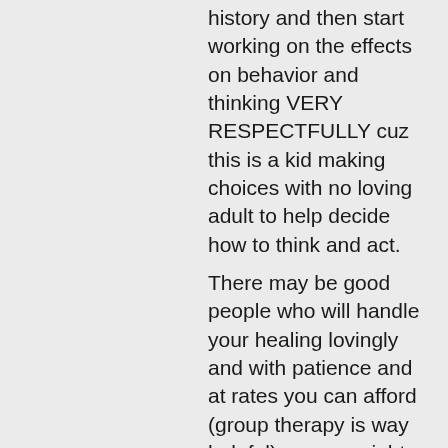history and then start working on the effects on behavior and thinking VERY RESPECTFULLY cuz this is a kid making choices with no loving adult to help decide how to think and act. There may be good people who will handle your healing lovingly and with patience and at rates you can afford (group therapy is way helpful). you are right to be very demanding and to get out when you feel not cared about or not respected or not valued. This will be very difficult and must be guided by someone who cares and knows how to help and get through making mistakes along the way cuz we all make mistakes and people who love each other